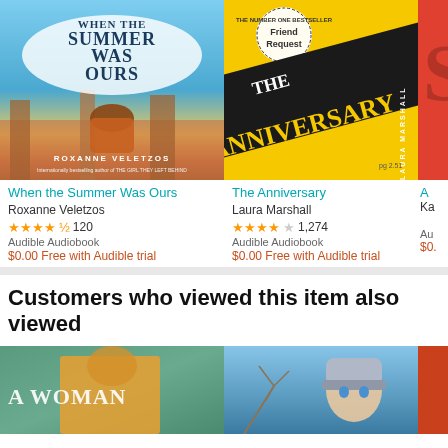[Figure (photo): Book cover: When the Summer Was Ours by Roxanne Veletzos - sky blue background with woman in orange coat looking at city]
When the Summer Was Ours
Roxanne Veletzos
★★★★½ 120
Audible Audiobook
$0.00 Free with Audible trial
[Figure (photo): Book cover: The Anniversary by Laura Marshall - yellow background with diagonal black text]
The Anniversary
Laura Marshall
★★★★☆ 1,274
Audible Audiobook
$0.00 Free with Audible trial
[Figure (photo): Partial third book cover on right edge]
Ka
Au
$0.
Customers who viewed this item also viewed
[Figure (photo): Bottom book cover 1: A Woman - green and gold tones with woman in yellow top]
[Figure (photo): Bottom book cover 2: Winter scene with woman in woolly hat against blue sky]